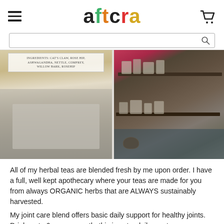aftcra
[Figure (photo): Two product photos side by side: left shows a kraft paper bag of herbal tea with a label listing ingredients including cat's claw, ashwagandha, nettle, comfrey, willow bark, rosehip; right shows an apothecary workspace with shelves holding jars and bottles of herbs.]
All of my herbal teas are blended fresh by me upon order. I have a full, well kept apothecary where your teas are made for you from always ORGANIC herbs that are ALWAYS sustainably harvested.
My joint care blend offers basic daily support for healthy joints. Drink up to 6 cups a month, this is not a daily use tea.